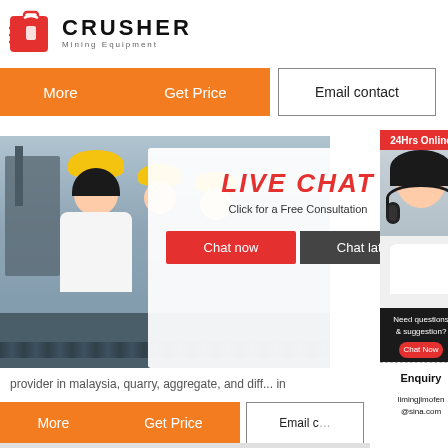[Figure (logo): Crusher Mining Equipment logo with red shopping bag icon and bold CRUSHER text]
More   Get Price   Email contact
[Figure (photo): Workers in yellow hard hats at a mining/quarry site with conveyor equipment]
[Figure (infographic): Live Chat popup overlay with 'LIVE CHAT' in red, 'Click for a Free Consultation', Chat now and Chat later buttons, customer service representative with headset, 24Hrs Online banner, Need questions & suggestion with Chat Now button, Enquiry section, limingjlmofen@sina.com contact]
provider in malaysia, quarry, aggregate, and diff... in
More   Get Price   Email c...